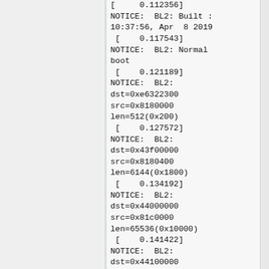[     0.112356]
NOTICE:  BL2: Built :
10:37:56, Apr  8 2019
 [    0.117543]
NOTICE:  BL2: Normal
boot
 [    0.121189]
NOTICE:  BL2:
dst=0xe6322300
src=0x8180000
len=512(0x200)
 [    0.127572]
NOTICE:  BL2:
dst=0x43f00000
src=0x8180400
len=6144(0x1800)
 [    0.134192]
NOTICE:  BL2:
dst=0x44000000
src=0x81c0000
len=65536(0x10000)
 [    0.141422]
NOTICE:  BL2:
dst=0x44100000
src=0x8200000